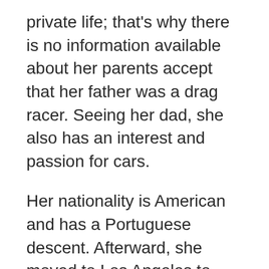private life; that's why there is no information available about her parents accept that her father was a drag racer. Seeing her dad, she also has an interest and passion for cars.
Her nationality is American and has a Portuguese descent. Afterward, she moved to Los Angeles to pursue her career in modeling.
Also Read: Sean Gilmartin Baby (Kayleigh McEnany Husband, Wiki, Family, Net worth a